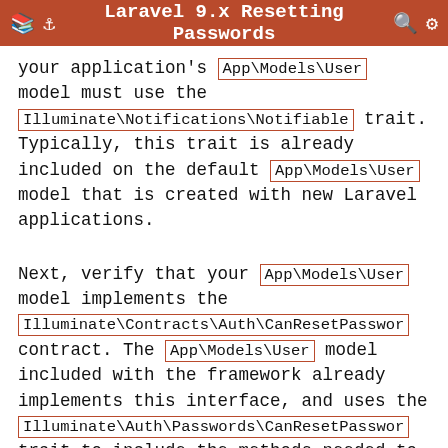Laravel 9.x Resetting Passwords
your application's App\Models\User model must use the Illuminate\Notifications\Notifiable trait. Typically, this trait is already included on the default App\Models\User model that is created with new Laravel applications.
Next, verify that your App\Models\User model implements the Illuminate\Contracts\Auth\CanResetPassword contract. The App\Models\User model included with the framework already implements this interface, and uses the Illuminate\Auth\Passwords\CanResetPassword trait to include the methods needed to implement the